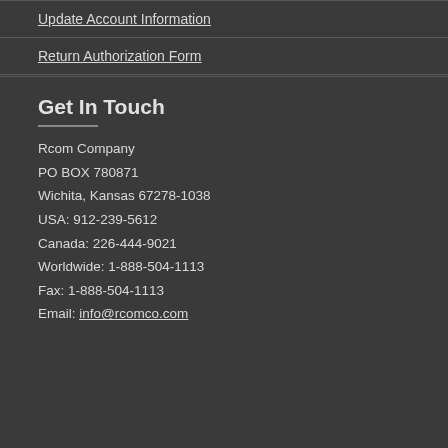Update Account Information
Return Authorization Form
Get In Touch
Rcom Company
PO BOX 780871
Wichita, Kansas 67278-1038
USA: 912-239-5612
Canada: 226-444-9021
Worldwide: 1-888-504-1113
Fax: 1-888-504-1113
Email: info@rcomco.com